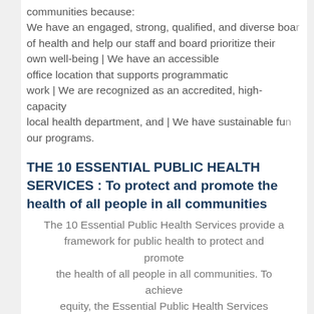communities because: We have an engaged, strong, qualified, and diverse board of health and help our staff and board prioritize their own well-being | We have an accessible office location that supports programmatic work | We are recognized as an accredited, high-capacity local health department, and | We have sustainable funding for our programs.
THE 10 ESSENTIAL PUBLIC HEALTH SERVICES : To protect and promote the health of all people in all communities
The 10 Essential Public Health Services provide a framework for public health to protect and promote the health of all people in all communities. To achieve equity, the Essential Public Health Services